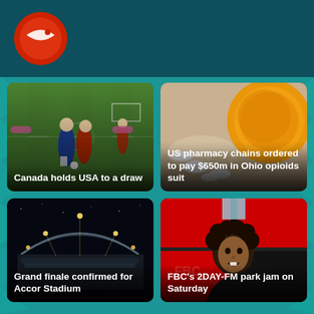FBC News header with logo
[Figure (photo): Soccer players on a green field, one in blue and one in red competing for the ball]
Canada holds USA to a draw
[Figure (photo): Prescription pill bottles and pills, orange/yellow pharmacy bottles close-up]
US pharmacy chains ordered to pay $650m in Ohio opioids suit
[Figure (photo): Stadium at night with lights illuminated, Accor Stadium aerial view]
Grand finale confirmed for Accor Stadium
[Figure (photo): Woman with curly hair smiling in front of red and black FBC News logo background]
FBC's 2DAY-FM park jam on Saturday